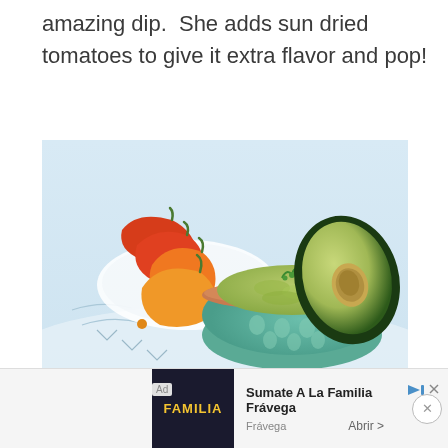amazing dip.  She adds sun dried tomatoes to give it extra flavor and pop!
[Figure (photo): A bowl of guacamole topped with cilantro and half an avocado, with colorful mini peppers (red, orange, yellow) arranged beside it on a white surface.]
[Figure (infographic): Advertisement banner: 'Sumate A La Familia Frávega' ad with a dark image showing people and FAMILIA text, along with an Abrir link and close button.]